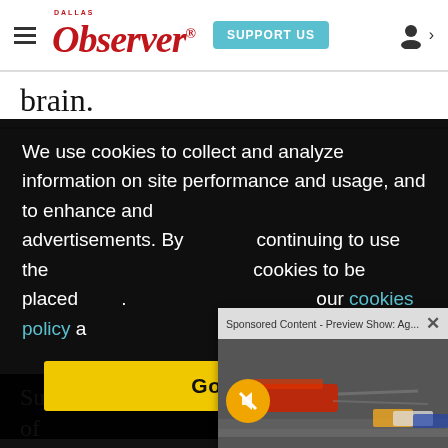Dallas Observer — SUPPORT US
brain.
We use cookies to collect and analyze information on site performance and usage, and to enhance and customize content and advertisements. By continuing to use the site, you agree to allow cookies to be placed. To find out more, visit our cookies policy a…
[Figure (screenshot): Sponsored Content - Preview Show: Ag... video popup with NASCAR race cars and mute button]
Got it!
Such innovations have fueled a revolution of